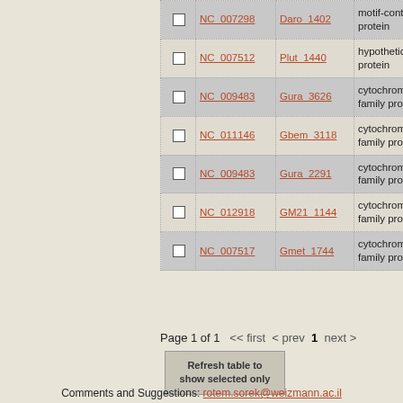|  | Accession | Gene | Description |
| --- | --- | --- | --- |
| ☐ | NC_007298 | Daro_1402 | motif-containing protein |
| ☐ | NC_007512 | Plut_1440 | hypothetical protein |
| ☐ | NC_009483 | Gura_3626 | cytochrome C family protein |
| ☐ | NC_011146 | Gbem_3118 | cytochrome C family protein |
| ☐ | NC_009483 | Gura_2291 | cytochrome C family protein |
| ☐ | NC_012918 | GM21_1144 | cytochrome C family protein |
| ☐ | NC_007517 | Gmet_1744 | cytochrome c family protein |
Page 1 of 1   << first  < prev  1  next >
Refresh table to show selected only
Comments and Suggestions: rotem.sorek@weizmann.ac.il